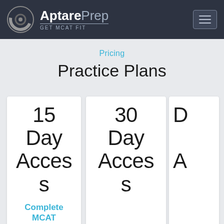AptarePrep GET MCAT FIT
Pricing
Practice Plans
15 Day Access
Complete MCAT
30 Day Access
D A (partial third plan card)